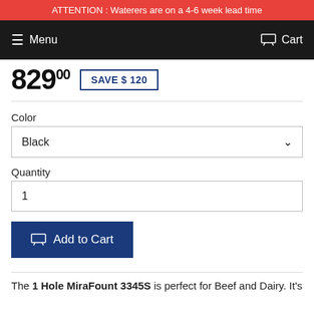ATTENTION : Waterers are on a 4-6 week lead time
Menu  Cart
829  SAVE $ 120
Color
Black
Quantity
1
Add to Cart
The 1 Hole MiraFount 3345S is perfect for Beef and Dairy. It's